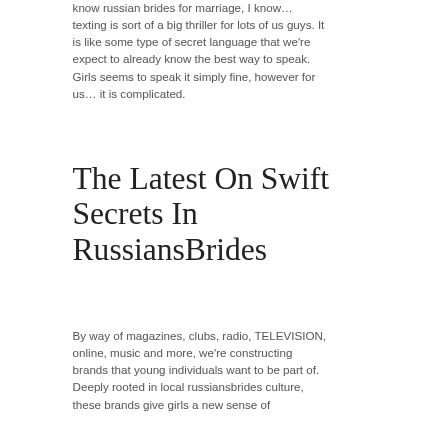know russian brides for marriage, I know… texting is sort of a big thriller for lots of us guys. It is like some type of secret language that we're expect to already know the best way to speak. Girls seems to speak it simply fine, however for us… it is complicated.
The Latest On Swift Secrets In RussiansBrides
By way of magazines, clubs, radio, TELEVISION, online, music and more, we're constructing brands that young individuals want to be part of. Deeply rooted in local russiansbrides culture, these brands give girls a new sense of